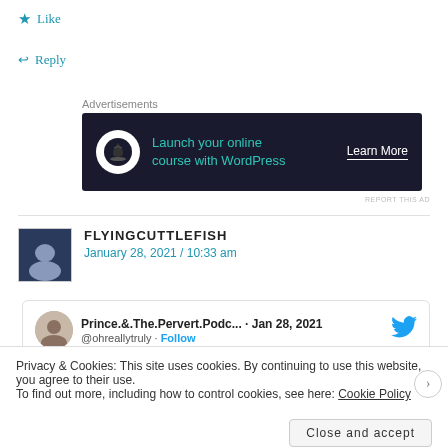★ Like
↩ Reply
Advertisements
[Figure (infographic): Advertisement banner: dark navy background with bonsai tree icon and text 'Launch your online course with WordPress' and 'Learn More' call-to-action]
REPORT THIS AD
FLYINGCUTTLEFISH
January 28, 2021 / 10:33 am
[Figure (screenshot): Embedded tweet card from Prince.&.The.Pervert.Podc... dated Jan 28, 2021 with Twitter bird logo and @ohreallytruly Follow handle]
Privacy & Cookies: This site uses cookies. By continuing to use this website, you agree to their use.
To find out more, including how to control cookies, see here: Cookie Policy
Close and accept